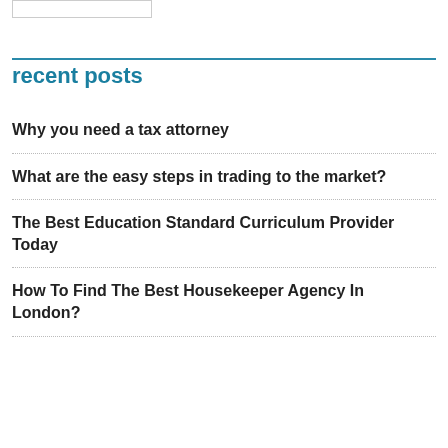recent posts
Why you need a tax attorney
What are the easy steps in trading to the market?
The Best Education Standard Curriculum Provider Today
How To Find The Best Housekeeper Agency In London?